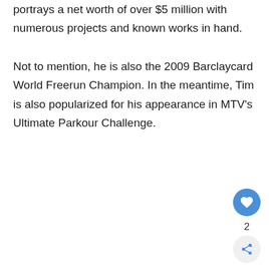portrays a net worth of over $5 million with numerous projects and known works in hand.
Not to mention, he is also the 2009 Barclaycard World Freerun Champion. In the meantime, Tim is also popularized for his appearance in MTV's Ultimate Parkour Challenge.